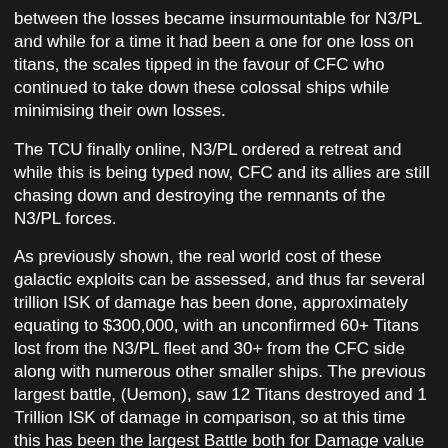between the losses became insurmountable for N3/PL and while for a time it had been a one for one loss on titans, the scales tipped in the favour of CFC who continued to take down these colossal ships while minimising their own losses.
The TCU finally online, N3/PL ordered a retreat and while this is being typed now, CFC and its allies are still chasing down and destroying the remnants of the N3/PL forces.
As previously shown, the real world cost of these galactic exploits can be assessed, and thus far several trillion ISK of damage has been done, approximately equating to $300,000, with an unconfirmed 60+ Titans lost from the N3/PL fleet and 30+ from the CFC side along with numerous other smaller ships. The previous largest battle, (Uemon), saw 12 Titans destroyed and 1 Trillion ISK of damage in comparison, so at this time this has been the largest Battle both for Damage value and Titan loss in EVE history.